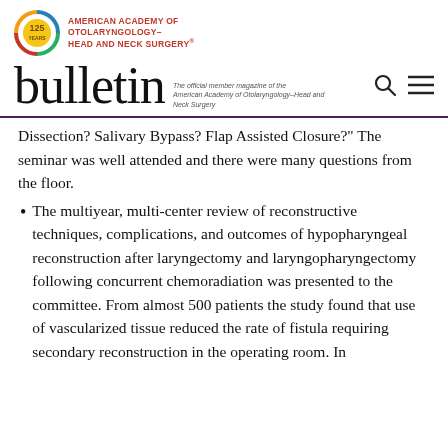[Figure (logo): American Academy of Otolaryngology–Head and Neck Surgery 125 Years logo with circular emblem and red organization name text]
[Figure (logo): Bulletin — The official member magazine of the American Academy of Otolaryngology–Head and Neck Surgery masthead with search and menu icons]
Dissection? Salivary Bypass? Flap Assisted Closure?" The seminar was well attended and there were many questions from the floor.
The multiyear, multi-center review of reconstructive techniques, complications, and outcomes of hypopharyngeal reconstruction after laryngectomy and laryngopharyngectomy following concurrent chemoradiation was presented to the committee. From almost 500 patients the study found that use of vascularized tissue reduced the rate of fistula requiring secondary reconstruction in the operating room. In